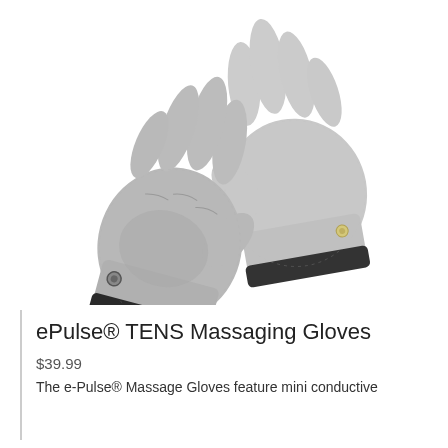[Figure (photo): Two gray ePulse TENS massaging gloves overlapping each other on a white background, showing the palm and back sides. The gloves have conductive fabric and small metal snap connectors at the wrists, with black elastic cuffs.]
ePulse® TENS Massaging Gloves
$39.99
The e-Pulse® Massage Gloves feature mini conductive